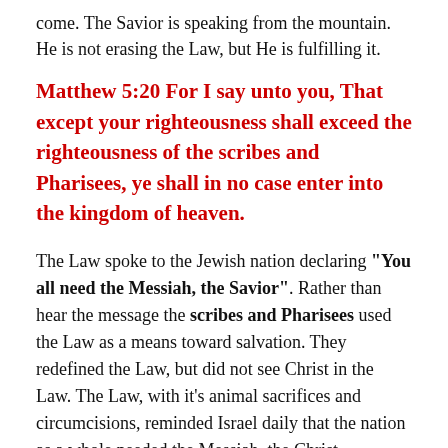come. The Savior is speaking from the mountain. He is not erasing the Law, but He is fulfilling it.
Matthew 5:20 For I say unto you, That except your righteousness shall exceed the righteousness of the scribes and Pharisees, ye shall in no case enter into the kingdom of heaven.
The Law spoke to the Jewish nation declaring “You all need the Messiah, the Savior”. Rather than hear the message the scribes and Pharisees used the Law as a means toward salvation. They redefined the Law, but did not see Christ in the Law. The Law, with it’s animal sacrifices and circumcisions, reminded Israel daily that the nation as a whole needed the Messiah, the Christ.
Religion took the true nature of the Law